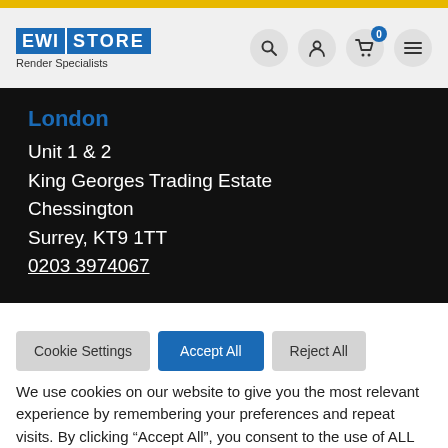[Figure (logo): EWI Store logo with blue background and 'Render Specialists' tagline, plus navigation icons (search, account, cart with badge 0, menu)]
London
Unit 1 & 2
King Georges Trading Estate
Chessington
Surrey, KT9 1TT
0203 3974067
We use cookies on our website to give you the most relevant experience by remembering your preferences and repeat visits. By clicking "Accept All", you consent to the use of ALL the cookies. However, you may visit "Cookie Settings" to provide a controlled consent.